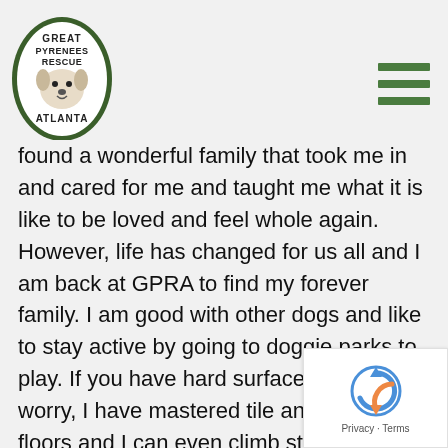[Figure (logo): Great Pyrenees Rescue Atlanta oval badge logo with dog illustration, green border]
[Figure (other): Hamburger menu icon with three green horizontal bars]
found a wonderful family that took me in and cared for me and taught me what it is like to be loved and feel whole again. However, life has changed for us all and I am back at GPRA to find my forever family. I am good with other dogs and like to stay active by going to doggie parks to play. If you have hard surface floors, don't worry, I have mastered tile and wood floors and I can even climb stairs. Please consider me even it I don't have all my legs. I promise you that this is not a handicap for me at all. For more information about me, contact GPRA today at info@greatpyratlanta.com
[Figure (logo): reCAPTCHA logo with Privacy and Terms links]